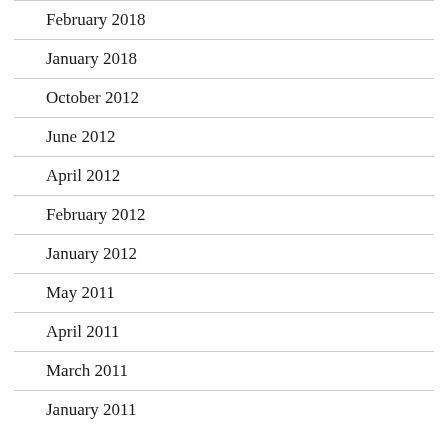February 2018
January 2018
October 2012
June 2012
April 2012
February 2012
January 2012
May 2011
April 2011
March 2011
January 2011